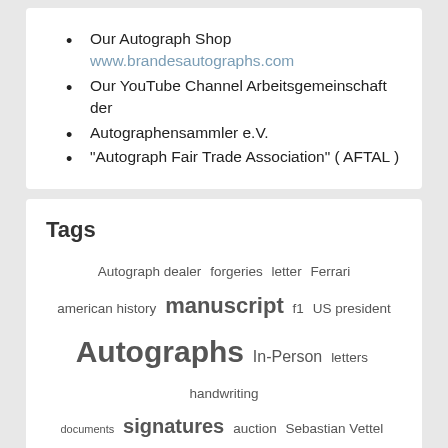Our Autograph Shop www.brandesautographs.com
Our YouTube Channel Arbeitsgemeinschaft der
Autographensammler e.V.
“Autograph Fair Trade Association” ( AFTAL )
Tags
Autograph dealer forgeries letter Ferrari american history manuscript f1 US president Autographs In-Person letters handwriting documents signatures auction Sebastian Vettel autograph Autograph collector signed formula one